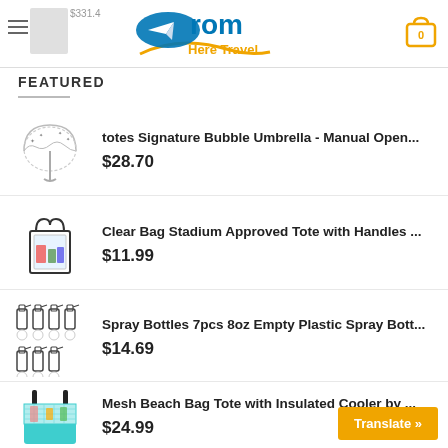From Here Travel — navigation header with logo, hamburger menu, cart icon (0)
FEATURED
totes Signature Bubble Umbrella - Manual Open... $28.70
Clear Bag Stadium Approved Tote with Handles ... $11.99
Spray Bottles 7pcs 8oz Empty Plastic Spray Bott... $14.69
Mesh Beach Bag Tote with Insulated Cooler by ... $24.99